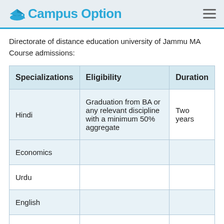Campus Option
Directorate of distance education university of Jammu MA Course admissions:
| Specializations | Eligibility | Duration |
| --- | --- | --- |
| Hindi | Graduation from BA or any relevant discipline with a minimum 50% aggregate | Two years |
| Economics |  |  |
| Urdu |  |  |
| English |  |  |